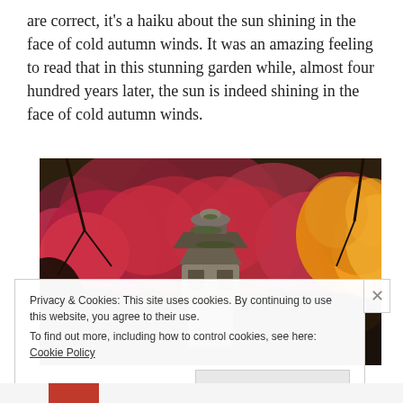are correct, it's a haiku about the sun shining in the face of cold autumn winds. It was an amazing feeling to read that in this stunning garden while, almost four hundred years later, the sun is indeed shining in the face of cold autumn winds.
[Figure (photo): Photo of a Japanese stone lantern pagoda surrounded by autumn foliage in shades of red, pink, orange, and yellow]
Privacy & Cookies: This site uses cookies. By continuing to use this website, you agree to their use.
To find out more, including how to control cookies, see here: Cookie Policy
Close and accept